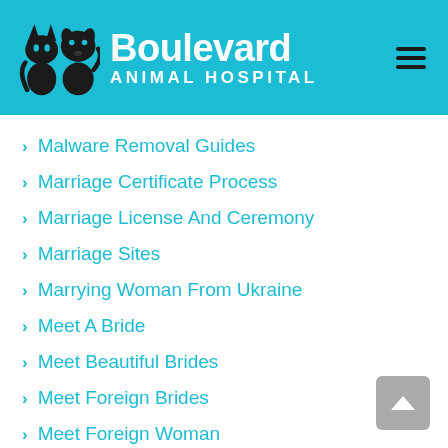[Figure (logo): Boulevard Animal Hospital logo with cat and dog silhouettes on teal background with hamburger menu icon]
Malware Removal Guides
Marriage Certificate Process
Marriage License And Ceremony
Marriage Sites
Marrying Woman From Ukraine
Meet A Bride
Meet Beautiful Brides
Meet Foreign Brides
Meet Foreign Woman
Meet Gorgeous Brides
Meet Real Brides
Meet Single Women